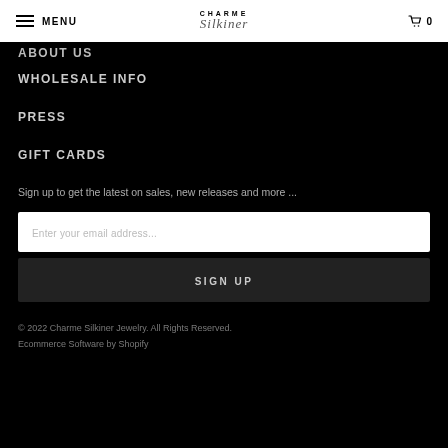MENU | Charme Silkiner | 0
ABOUT US
WHOLESALE INFO
PRESS
GIFT CARDS
Sign up to get the latest on sales, new releases and more ...
Enter your email address...
SIGN UP
© 2022 Charme Silkiner Jewelry. All Rights Reserved. Ecommerce Software by Shopify